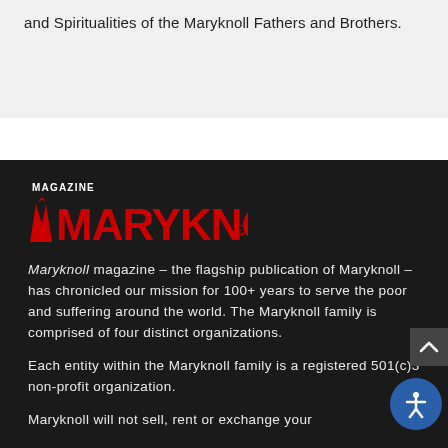and Spiritualities of the Maryknoll Fathers and Brothers.
[Figure (logo): Maryknoll Magazine logo — red bold MARYKNOLL text with 'Magazine' above and registered trademark symbol]
Maryknoll magazine – the flagship publication of Maryknoll – has chronicled our mission for 100+ years to serve the poor and suffering around the world. The Maryknoll family is comprised of four distinct organizations.
Each entity within the Maryknoll family is a registered 501(c)3 non-profit organization.
Maryknoll will not sell, rent or exchange your